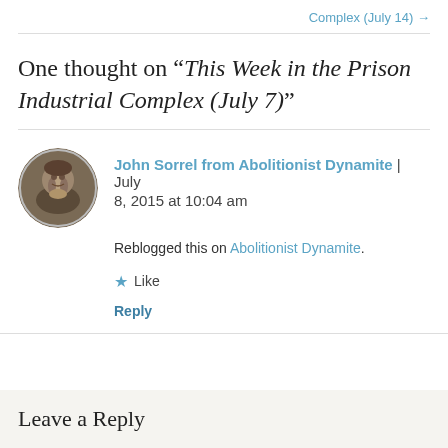Complex (July 14) →
One thought on “This Week in the Prison Industrial Complex (July 7)”
John Sorrel from Abolitionist Dynamite | July 8, 2015 at 10:04 am
Reblogged this on Abolitionist Dynamite.
★ Like
Reply
Leave a Reply